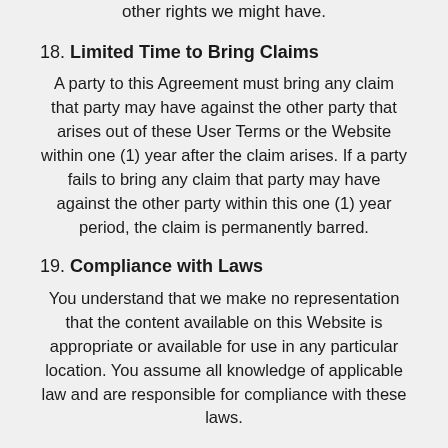other rights we might have.
18. Limited Time to Bring Claims
A party to this Agreement must bring any claim that party may have against the other party that arises out of these User Terms or the Website within one (1) year after the claim arises. If a party fails to bring any claim that party may have against the other party within this one (1) year period, the claim is permanently barred.
19. Compliance with Laws
You understand that we make no representation that the content available on this Website is appropriate or available for use in any particular location. You assume all knowledge of applicable law and are responsible for compliance with these laws.
20. Governing Law